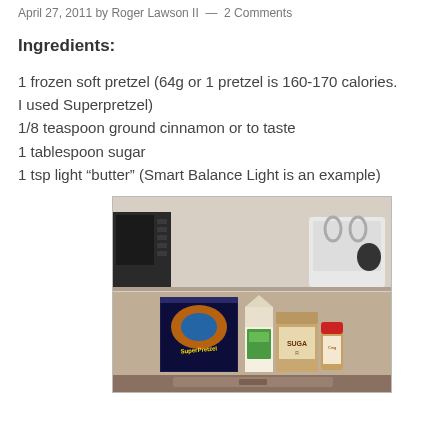April 27, 2011 by Roger Lawson II — 2 Comments
Ingredients:
1 frozen soft pretzel (64g or 1 pretzel is 160-170 calories. I used Superpretzel)
1/8 teaspoon ground cinnamon or to taste
1 tablespoon sugar
1 tsp light "butter" (Smart Balance Light is an example)
[Figure (photo): Kitchen counter with ingredients laid out: SuperPretzel box, a carton, a bag of Domino sugar, a spice jar with red lid, and a white dish rack in background]